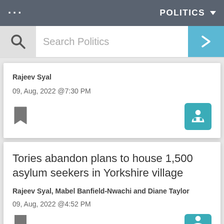POLITICS
Search Politics
Rajeev Syal
09, Aug, 2022 @7:30 PM
Tories abandon plans to house 1,500 asylum seekers in Yorkshire village
Rajeev Syal, Mabel Banfield-Nwachi and Diane Taylor
09, Aug, 2022 @4:52 PM